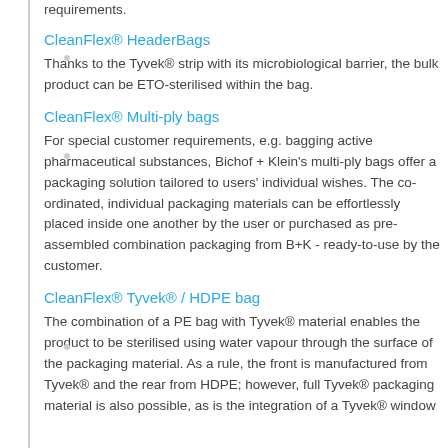requirements.
CleanFlex® HeaderBags
Thanks to the Tyvek® strip with its microbiological barrier, the bulk product can be ETO-sterilised within the bag.
CleanFlex® Multi-ply bags
For special customer requirements, e.g. bagging active pharmaceutical substances, Bichof + Klein's multi-ply bags offer a packaging solution tailored to users' individual wishes. The co-ordinated, individual packaging materials can be effortlessly placed inside one another by the user or purchased as pre-assembled combination packaging from B+K - ready-to-use by the customer.
CleanFlex® Tyvek® / HDPE bag
The combination of a PE bag with Tyvek® material enables the product to be sterilised using water vapour through the surface of the packaging material. As a rule, the front is manufactured from Tyvek® and the rear from HDPE; however, full Tyvek® packaging material is also possible, as is the integration of a Tyvek® window